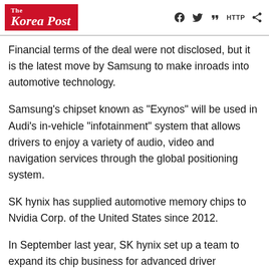The Korea Post
Financial terms of the deal were not disclosed, but it is the latest move by Samsung to make inroads into automotive technology.
Samsung's chipset known as "Exynos" will be used in Audi's in-vehicle "infotainment" system that allows drivers to enjoy a variety of audio, video and navigation services through the global positioning system.
SK hynix has supplied automotive memory chips to Nvidia Corp. of the United States since 2012.
In September last year, SK hynix set up a team to expand its chip business for advanced driver...